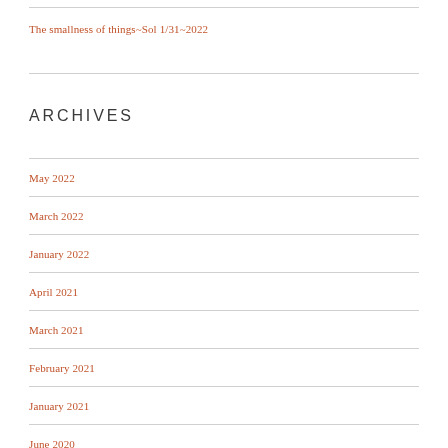The smallness of things~Sol 1/31~2022
ARCHIVES
May 2022
March 2022
January 2022
April 2021
March 2021
February 2021
January 2021
June 2020
May 2020